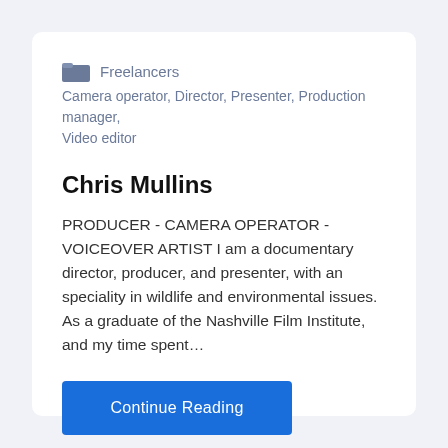Freelancers
Camera operator, Director, Presenter, Production manager, Video editor
Chris Mullins
PRODUCER - CAMERA OPERATOR - VOICEOVER ARTIST I am a documentary director, producer, and presenter, with an speciality in wildlife and environmental issues. As a graduate of the Nashville Film Institute, and my time spent…
Continue Reading